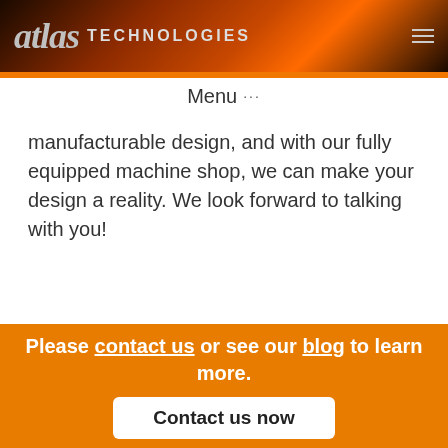[Figure (logo): Atlas Technologies logo on dark flame/gradient background with hamburger menu icon]
Menu ···
manufacturable design, and with our fully equipped machine shop, we can make your design a reality. We look forward to talking with you!
Please contact us or see our blog to learn more.
Contact us now